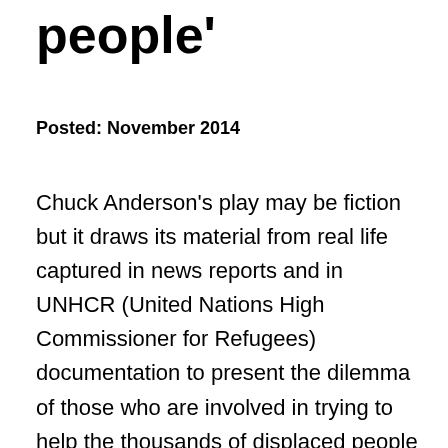people'
Posted: November 2014
Chuck Anderson's play may be fiction but it draws its material from real life captured in news reports and in UNHCR (United Nations High Commissioner for Refugees) documentation to present the dilemma of those who are involved in trying to help the thousands of displaced people in refugee camps.